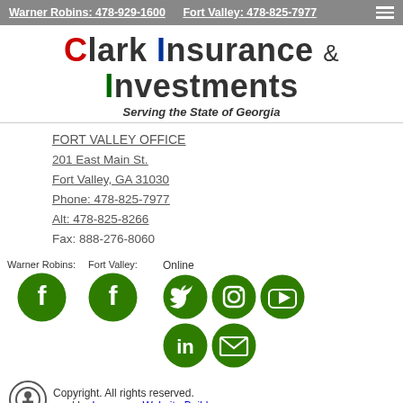Warner Robins: 478-929-1600   Fort Valley: 478-825-7977
Clark Insurance & Investments - Serving the State of Georgia
FORT VALLEY OFFICE
201 East Main St.
Fort Valley, GA 31030
Phone: 478-825-7977
Alt: 478-825-8266
Fax: 888-276-8060
[Figure (infographic): Social media icons: Warner Robins Facebook, Fort Valley Facebook, and Online icons for Twitter, Instagram, YouTube, LinkedIn, Email — all green circles with white icons]
Copyright. All rights reserved. Powered by Insurance Website Builder